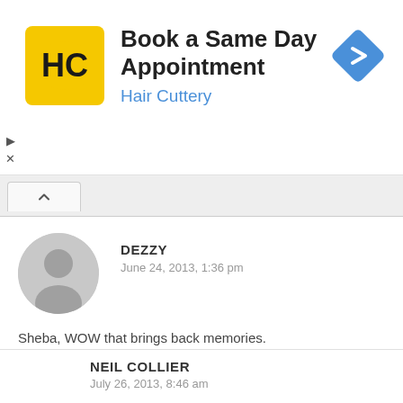[Figure (infographic): Hair Cuttery advertisement banner with yellow logo showing 'HC', title 'Book a Same Day Appointment', subtitle 'Hair Cuttery', and a blue diamond navigation arrow icon.]
DEZZY
June 24, 2013, 1:36 pm
Sheba, WOW that brings back memories.
REPLY
NEIL COLLIER
July 26, 2013, 8:46 am